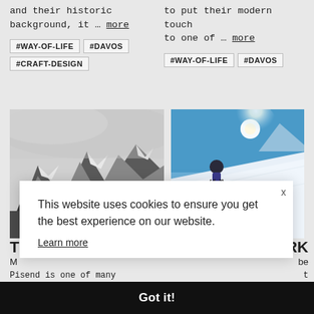and their historic background, it ... more
to put their modern touch to one of ... more
#WAY-OF-LIFE  #DAVOS  #CRAFT-DESIGN
#WAY-OF-LIFE  #DAVOS
[Figure (photo): Black and white photo of snow-covered mountain peaks with fog/clouds]
[Figure (photo): Skier on a bright sunny slope with sun glare and blue sky]
This website uses cookies to ensure you get the best experience on our website.
Learn more
Got it!
T                                                                                 RK
M                                                                                be
Pisend is one of many                                                           t